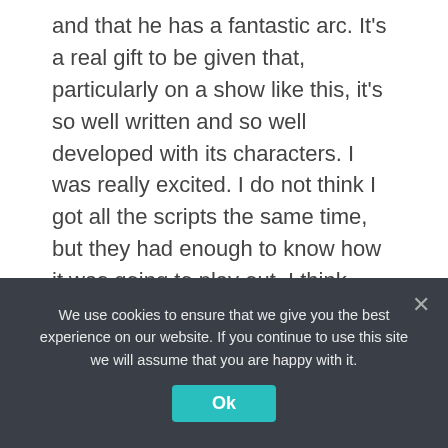and that he has a fantastic arc. It's a real gift to be given that, particularly on a show like this, it's so well written and so well developed with its characters. I was really excited. I do not think I got all the scripts the same time, but they had enough to know how it was going to play out. I think Seth might have told me over a whiskey the arc beforehand, but yeah, it was quite exciting.
What were some of the challenges for you trying to really explore this emotional arc through a robotic-type character?
We use cookies to ensure that we give you the best experience on our website. If you continue to use this site we will assume that you are happy with it.